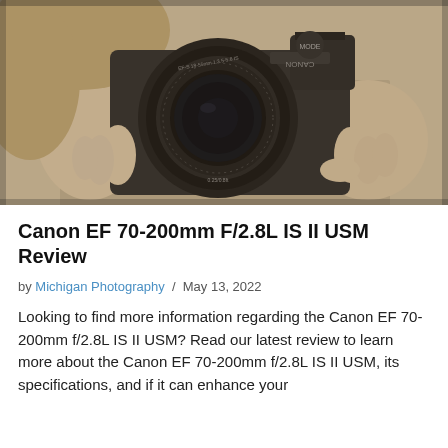[Figure (photo): Sepia-toned photo of a person holding a Canon DSLR camera with a wide-angle lens pointing toward the viewer]
Canon EF 70-200mm F/2.8L IS II USM Review
by Michigan Photography / May 13, 2022
Looking to find more information regarding the Canon EF 70-200mm f/2.8L IS II USM? Read our latest review to learn more about the Canon EF 70-200mm f/2.8L IS II USM, its specifications, and if it can enhance your photography.